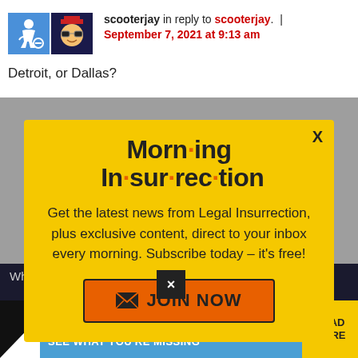scooterjay in reply to scooterjay. | September 7, 2021 at 9:13 am
Detroit, or Dallas?
[Figure (screenshot): Modal popup with yellow background for Morning Insurrection newsletter signup. Shows title 'Morn·ing In·sur·rec·tion', body text 'Get the latest news from Legal Insurrection, plus exclusive content, direct to your inbox every morning. Subscribe today – it's free!', and an orange JOIN NOW button with envelope icon. X close button in top right.]
Who in the hell does Randi Weingarten
[Figure (screenshot): Ad banner: THE PERSPECTIVE - SEE WHAT YOU'RE MISSING - READ MORE]